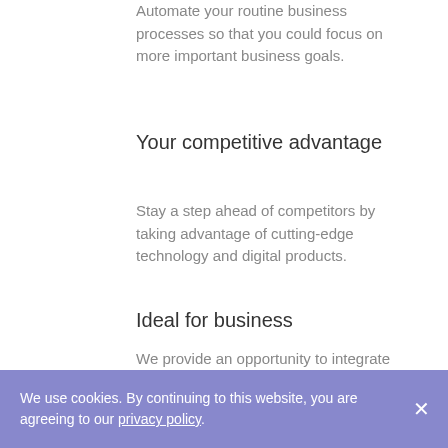Automate your routine business processes so that you could focus on more important business goals.
Your competitive advantage
Stay a step ahead of competitors by taking advantage of cutting-edge technology and digital products.
Ideal for business
We provide an opportunity to integrate the software with online stores and catalogs hassle-free.
Customized approach
We use cookies. By continuing to this website, you are agreeing to our privacy policy.